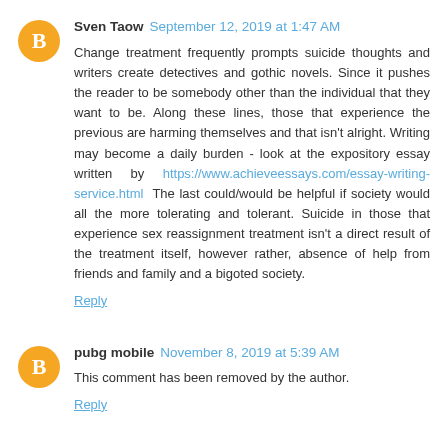Sven Taow  September 12, 2019 at 1:47 AM
Change treatment frequently prompts suicide thoughts and writers create detectives and gothic novels. Since it pushes the reader to be somebody other than the individual that they want to be. Along these lines, those that experience the previous are harming themselves and that isn't alright. Writing may become a daily burden - look at the expository essay written by https://www.achieveessays.com/essay-writing-service.html The last could/would be helpful if society would all the more tolerating and tolerant. Suicide in those that experience sex reassignment treatment isn't a direct result of the treatment itself, however rather, absence of help from friends and family and a bigoted society.
Reply
pubg mobile  November 8, 2019 at 5:39 AM
This comment has been removed by the author.
Reply